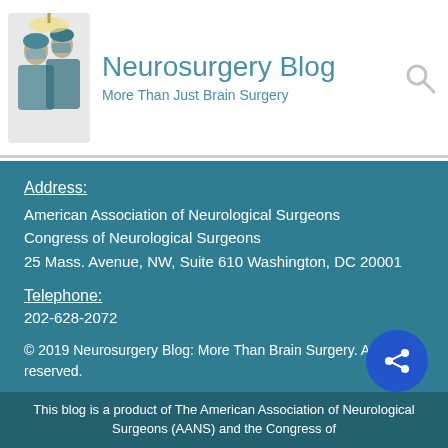Neurosurgery Blog — More Than Just Brain Surgery
Address:
American Association of Neurological Surgeons
Congress of Neurological Surgeons
25 Mass. Avenue, NW, Suite 610 Washington, DC 20001
Telephone:
202-628-2072
© 2019 Neurosurgery Blog: More Than Brain Surgery. All rights reserved.
This blog is a product of The American Association of Neurological Surgeons (AANS) and the Congress of